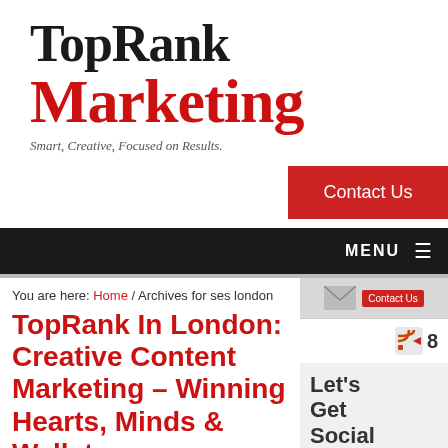[Figure (logo): TopRank Marketing logo with tagline 'Smart, Creative, Focused on Results.']
Contact Us
MENU
You are here: Home / Archives for ses london
TopRank In London: Creative Content Marketing – Winning Hearts, Minds & Wallets
[Figure (other): Sidebar with Contact Us envelope icon, RSS feed icon with count 8, Let's Get Social heading, and Facebook button]